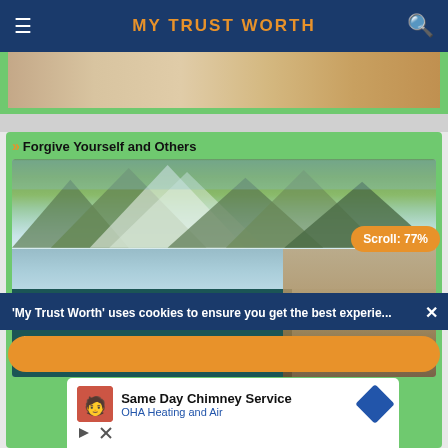MY TRUST WORTH
[Figure (photo): Top portion of a person's head, close-up photograph]
Forgive Yourself and Others
[Figure (photo): Mountain lake landscape with text overlay reading FORGIVE YOURSELF and a person sitting by the water]
'My Trust Worth' uses cookies to ensure you get the best experience
Scroll: 77%
[Figure (infographic): Advertisement: Same Day Chimney Service - OHA Heating and Air]